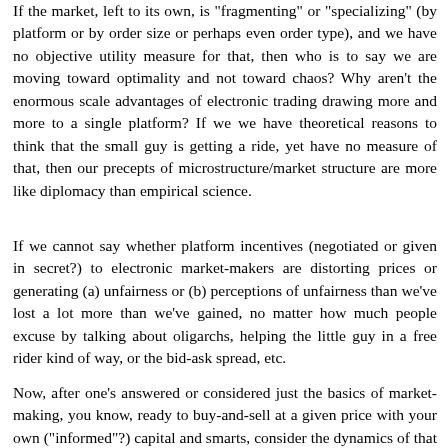If the market, left to its own, is "fragmenting" or "specializing" (by platform or by order size or perhaps even order type), and we have no objective utility measure for that, then who is to say we are moving toward optimality and not toward chaos? Why aren't the enormous scale advantages of electronic trading drawing more and more to a single platform? If we we have theoretical reasons to think that the small guy is getting a ride, yet have no measure of that, then our precepts of microstructure/market structure are more like diplomacy than empirical science.
If we cannot say whether platform incentives (negotiated or given in secret?) to electronic market-makers are distorting prices or generating (a) unfairness or (b) perceptions of unfairness than we've lost a lot more than we've gained, no matter how much people excuse by talking about oligarchs, helping the little guy in a free rider kind of way, or the bid-ask spread, etc.
Now, after one's answered or considered just the basics of market-making, you know, ready to buy-and-sell at a given price with your own ("informed"?) capital and smarts, consider the dynamics of that with high-speed trading